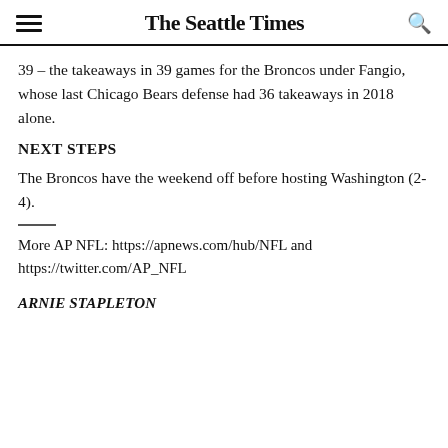The Seattle Times
39 – the takeaways in 39 games for the Broncos under Fangio, whose last Chicago Bears defense had 36 takeaways in 2018 alone.
NEXT STEPS
The Broncos have the weekend off before hosting Washington (2-4).
More AP NFL: https://apnews.com/hub/NFL and https://twitter.com/AP_NFL
ARNIE STAPLETON